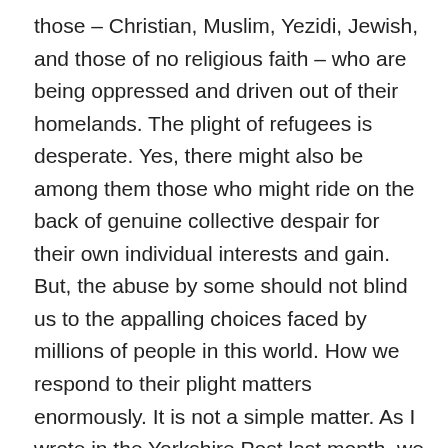those – Christian, Muslim, Yezidi, Jewish, and those of no religious faith – who are being oppressed and driven out of their homelands. The plight of refugees is desperate. Yes, there might also be among them those who might ride on the back of genuine collective despair for their own individual interests and gain. But, the abuse by some should not blind us to the appalling choices faced by millions of people in this world. How we respond to their plight matters enormously. It is not a simple matter. As I wrote in the Yorkshire Post last month, we do need to engage both head and heart as we consider how to respond and at what level. Today we have an opportunity to share our wisdom on this, recognising that this is the beginning and not the end of this matter, and that the situation changes every day.
So there are real difficulties of this enormously important issue about the...